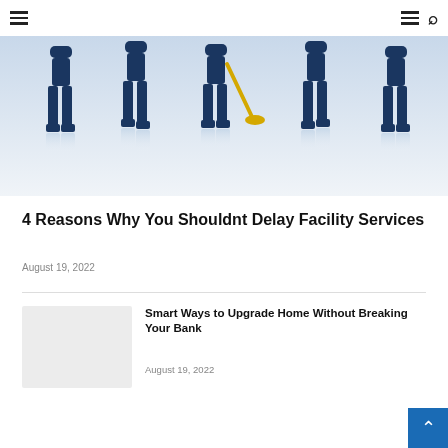Navigation header with hamburger menus and search icon
[Figure (illustration): Illustration of janitors/facility workers in dark blue uniforms walking, one with a yellow mop, with reflections beneath them on a light background]
4 Reasons Why You Shouldnt Delay Facility Services
August 19, 2022
[Figure (photo): Light gray placeholder thumbnail image for Smart Ways to Upgrade Home Without Breaking Your Bank article]
Smart Ways to Upgrade Home Without Breaking Your Bank
August 19, 2022